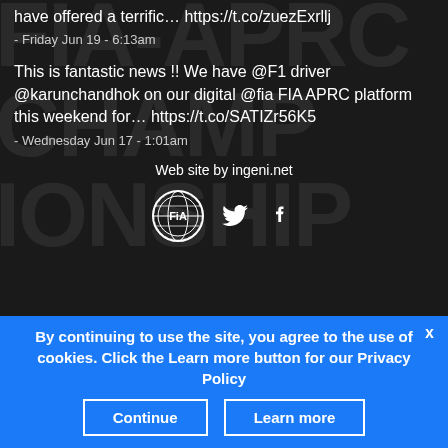have offered a terrific… https://t.co/zuezExrllj
- Friday Jun 19 - 6:13am
This is fantastic news !! We have @F1 driver @karunchandhok on our digital @fia FIA APRC platform this weekend for… https://t.co/SATIZr56K5
- Wednesday Jun 17 - 1:01am
Web site by ingeni.net
[Figure (logo): FIA logo circle with globe design and FiA text, Twitter bird icon, Facebook f icon]
By continuing to use the site, you agree to the use of cookies. Click the Learn more button for our Privacy Policy
Continue
Learn more